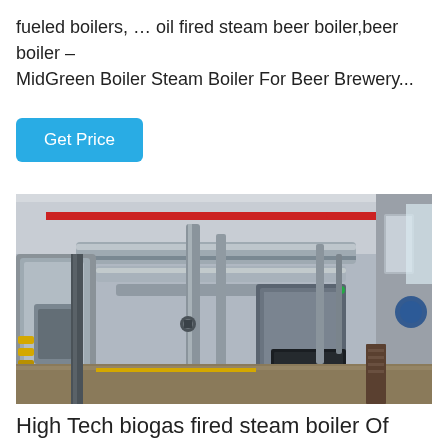fueled boilers, … oil fired steam beer boiler,beer boiler – MidGreen Boiler Steam Boiler For Beer Brewery...
Get Price
[Figure (photo): Industrial boiler room interior showing large cylindrical boilers with insulated pipes, red overhead pipes, metal columns, and industrial equipment on a concrete floor.]
High Tech biogas fired steam boiler Of